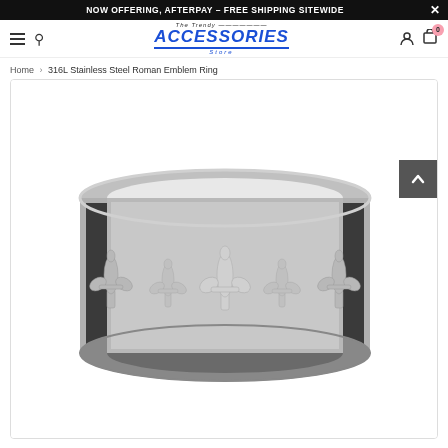NOW OFFERING, AFTERPAY – FREE SHIPPING SITEWIDE
[Figure (logo): The Trendy Accessories Store logo with blue stylized text]
Home › 316L Stainless Steel Roman Emblem Ring
[Figure (photo): 316L Stainless Steel Roman Emblem Ring with fleur-de-lis motifs on a wide dark oxidized band, photographed on white background]